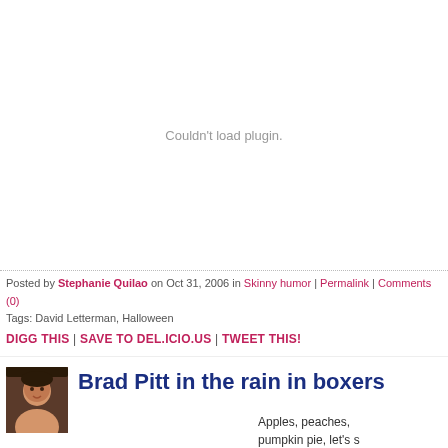[Figure (other): Couldn't load plugin. placeholder area — embedded media plugin failed to load]
Posted by Stephanie Quilao on Oct 31, 2006 in Skinny humor | Permalink | Comments (0)
Tags: David Letterman, Halloween
DIGG THIS | SAVE TO DEL.ICIO.US | TWEET THIS!
[Figure (photo): Small avatar photo of author — woman with dark hair]
Brad Pitt in the rain in boxers
Apples, peaches, pumpkin pie, let's s Brad Pitt...